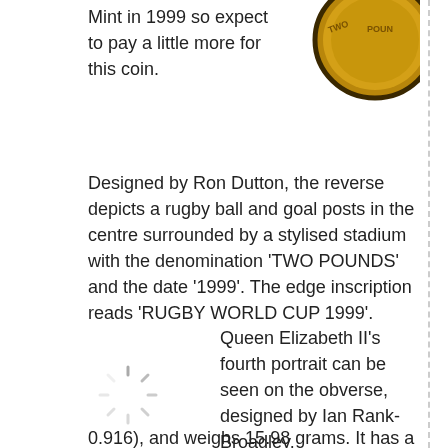[Figure (photo): Close-up of a gold coin showing 'TWO POUNDS' text on the rim, top-right of page]
Mint in 1999 so expect to pay a little more for this coin.
Designed by Ron Dutton, the reverse depicts a rugby ball and goal posts in the centre surrounded by a stylised stadium with the denomination 'TWO POUNDS' and the date '1999'. The edge inscription reads 'RUGBY WORLD CUP 1999'.
[Figure (photo): Loading spinner / image placeholder icon]
Queen Elizabeth II's fourth portrait can be seen on the obverse, designed by Ian Rank-Broadley. The two pounds piece is made of solid 22 carat gold (Gold Fineness of 0.916), and weighs 15.98 grams. It has a diameter of